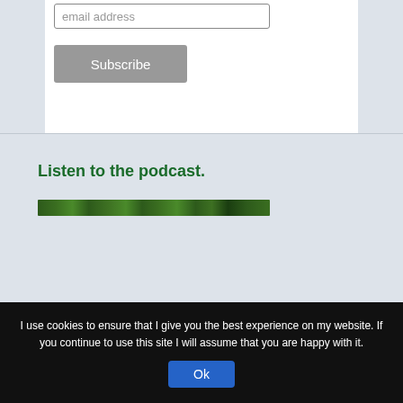email address
Subscribe
Listen to the podcast.
[Figure (photo): A dark green textured podcast banner image]
I use cookies to ensure that I give you the best experience on my website. If you continue to use this site I will assume that you are happy with it.
Ok